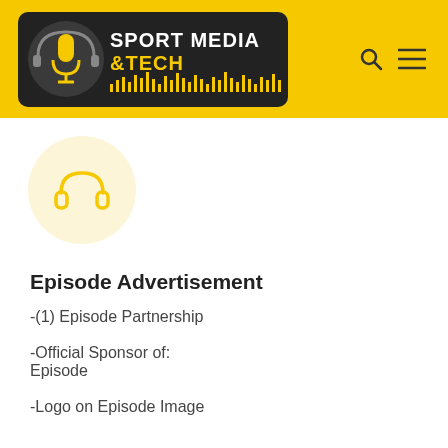[Figure (logo): Sport Media &Tech podcast logo — dark background with microphone icon and audio waveform bars, yellow and white text]
[Figure (illustration): Yellow headphones icon inside a light cream circular background]
Episode Advertisement
-(1) Episode Partnership
-Official Sponsor of: Episode
-Logo on Episode Image